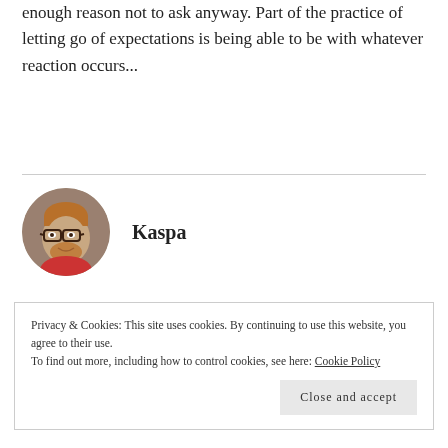enough reason not to ask anyway. Part of the practice of letting go of expectations is being able to be with whatever reaction occurs...
[Figure (photo): Circular avatar photo of a man with glasses and a beard, named Kaspa]
Kaspa
Privacy & Cookies: This site uses cookies. By continuing to use this website, you agree to their use.
To find out more, including how to control cookies, see here: Cookie Policy
Close and accept